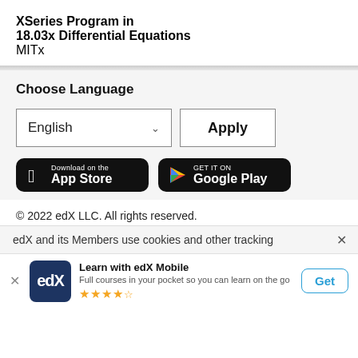XSeries Program in 18.03x Differential Equations
MITx
Choose Language
[Figure (screenshot): Language selector dropdown showing 'English' with chevron and 'Apply' button]
[Figure (screenshot): App store badges: 'Download on the App Store' and 'GET IT ON Google Play']
© 2022 edX LLC. All rights reserved.
edX and its Members use cookies and other tracking
[Figure (screenshot): edX mobile app banner: Learn with edX Mobile - Full courses in your pocket so you can learn on the go - 4.5 stars - Get button]